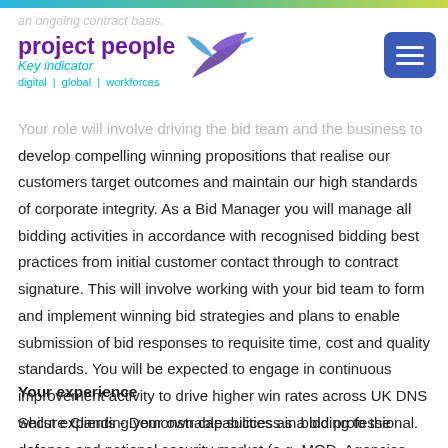project people | digital | global | workforces
Your role will involve driving the bid team and the business to develop compelling winning propositions that realise our customers target outcomes and maintain our high standards of corporate integrity. As a Bid Manager you will manage all bidding activities in accordance with recognised bidding best practices from initial customer contact through to contract signature. This will involve working with your bid team to form and implement winning bid strategies and plans to enable submission of bid responses to requisite time, cost and quality standards. You will be expected to engage in continuous improvement activity to drive higher win rates across UK DNS whilst expanding your own capabilities as a bid professional.
Your experience
Secure Clients - Demonstrable success in bidding to the defense and national security market (e.g. MOD, Agencies